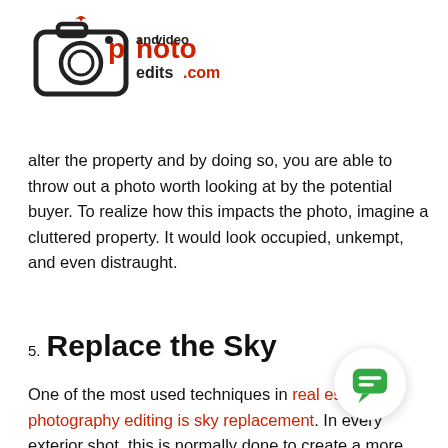[Figure (logo): Photoandvideoedits.com logo with camera icon]
alter the property and by doing so, you are able to throw out a photo worth looking at by the potential buyer. To realize how this impacts the photo, imagine a cluttered property. It would look occupied, unkempt, and even distraught.
5. Replace the Sky
One of the most used techniques in real estate photography editing is sky replacement. In every exterior shot, this is normally done to create a more astonishingly brighter ambience than it would have been if only shot it with a camera and threw it out for the public to see. Of course, this would be unnecessary if the sunny day already provided the ample lighting but, in any